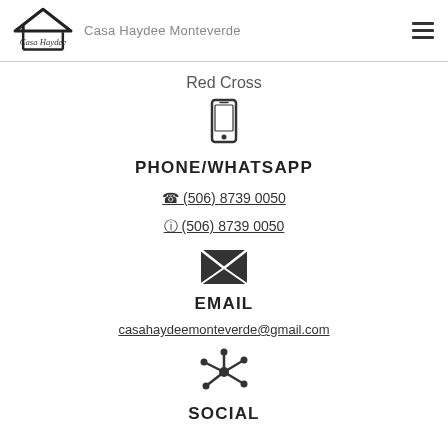Casa Haydee Monteverde
Red Cross
[Figure (illustration): Mobile phone / smartphone icon (outline style)]
PHONE/WHATSAPP
(506) 8739 0050
(506) 8739 0050
[Figure (illustration): Envelope / email icon (filled dark style with X pattern)]
EMAIL
casahaydeemonteverde@gmail.com
[Figure (illustration): Social media / network share icon (star/asterisk with dots)]
SOCIAL